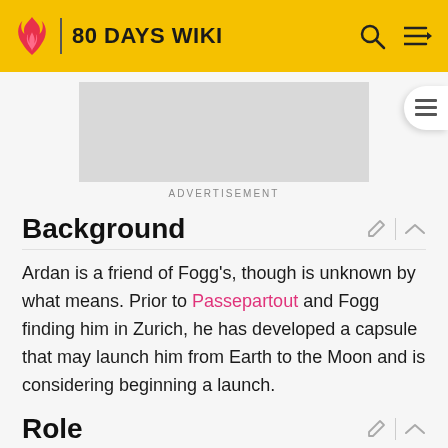80 DAYS WIKI
[Figure (screenshot): Advertisement placeholder (grey rectangle)]
ADVERTISEMENT
Background
Ardan is a friend of Fogg's, though is unknown by what means. Prior to Passepartout and Fogg finding him in Zurich, he has developed a capsule that may launch him from Earth to the Moon and is considering beginning a launch.
Role
After a few days of being stranded in Zurich, Fogg will